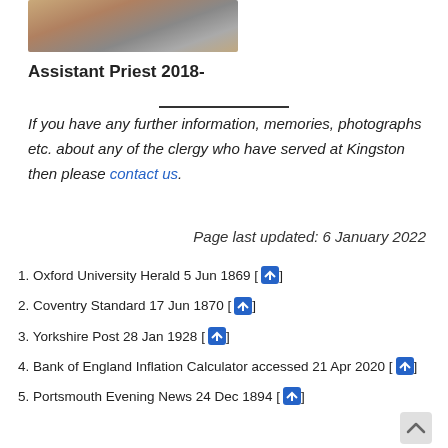[Figure (photo): Partial photo of a person with grey beard and light hair, cropped at top of page]
Assistant Priest 2018-
If you have any further information, memories, photographs etc. about any of the clergy who have served at Kingston then please contact us.
Page last updated: 6 January 2022
1. Oxford University Herald 5 Jun 1869 [↩]
2. Coventry Standard 17 Jun 1870 [↩]
3. Yorkshire Post 28 Jan 1928 [↩]
4. Bank of England Inflation Calculator accessed 21 Apr 2020 [↩]
5. Portsmouth Evening News 24 Dec 1894 [↩]